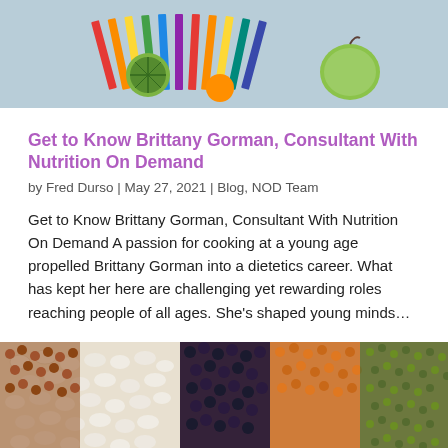[Figure (photo): Top portion of a photo showing school supplies including colored pencils, a kiwi fruit, and a green apple on a blue/gray background]
Get to Know Brittany Gorman, Consultant With Nutrition On Demand
by Fred Durso | May 27, 2021 | Blog, NOD Team
Get to Know Brittany Gorman, Consultant With Nutrition On Demand A passion for cooking at a young age propelled Brittany Gorman into a dietetics career. What has kept her here are challenging yet rewarding roles reaching people of all ages. She’s shaped young minds…
[Figure (photo): Photo of various colorful legumes and beans arranged in sections: white beans, red/brown lentils, black beans, orange lentils, green mung beans]